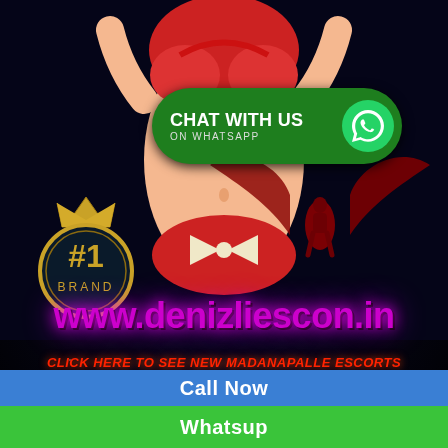[Figure (illustration): Anime-style illustration of a female figure in red bikini on dark starfield background with angel wings silhouette in bottom right]
CHAT WITH US ON WHATSAPP
[Figure (logo): #1 BRAND badge with gold circle and crown]
www.denizliescon.in
CLICK HERE TO SEE NEW MADANAPALLE ESCORTS
Call Now
Whatsup